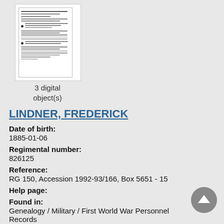[Figure (other): Thumbnail image of a scanned military document with handwritten entries and form fields, shown with two bullet markers on the left side]
3 digital object(s)
LINDNER, FREDERICK
Date of birth:
1885-01-06
Regimental number:
826125
Reference:
RG 150, Accession 1992-93/166, Box 5651 - 15
Help page:
Found in:
Genealogy / Military / First World War Personnel Records